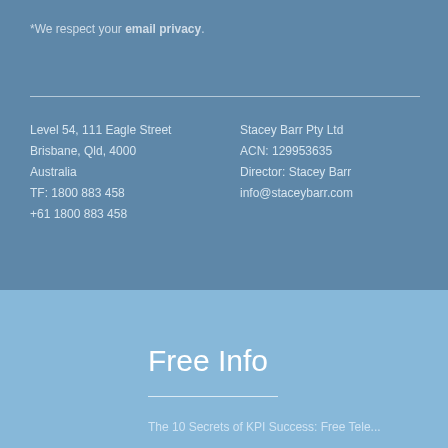*We respect your email privacy.
Level 54, 111 Eagle Street
Brisbane, Qld, 4000
Australia
TF: 1800 883 458
+61 1800 883 458
Stacey Barr Pty Ltd
ACN: 129953635
Director: Stacey Barr
info@staceybarr.com
Free Info